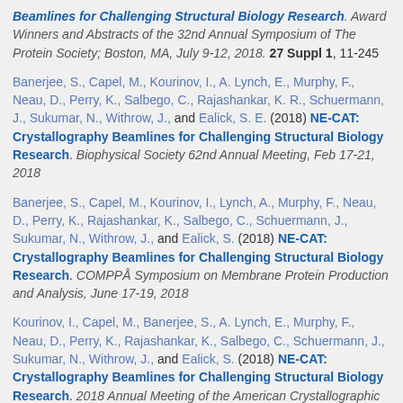Beamlines for Challenging Structural Biology Research. Award Winners and Abstracts of the 32nd Annual Symposium of The Protein Society; Boston, MA, July 9-12, 2018. 27 Suppl 1, 11-245
Banerjee, S., Capel, M., Kourinov, I., A. Lynch, E., Murphy, F., Neau, D., Perry, K., Salbego, C., Rajashankar, K. R., Schuermann, J., Sukumar, N., Withrow, J., and Ealick, S. E. (2018) NE-CAT: Crystallography Beamlines for Challenging Structural Biology Research. Biophysical Society 62nd Annual Meeting, Feb 17-21, 2018
Banerjee, S., Capel, M., Kourinov, I., Lynch, A., Murphy, F., Neau, D., Perry, K., Rajashankar, K., Salbego, C., Schuermann, J., Sukumar, N., Withrow, J., and Ealick, S. (2018) NE-CAT: Crystallography Beamlines for Challenging Structural Biology Research. COMPPÅ Symposium on Membrane Protein Production and Analysis, June 17-19, 2018
Kourinov, I., Capel, M., Banerjee, S., A. Lynch, E., Murphy, F., Neau, D., Perry, K., Rajashankar, K., Salbego, C., Schuermann, J., Sukumar, N., Withrow, J., and Ealick, S. (2018) NE-CAT: Crystallography Beamlines for Challenging Structural Biology Research. 2018 Annual Meeting of the American Crystallographic Association, July 20-24, 2018
Kourinov, I., Capel, M., Banerjee, S., Murphy, F., Neau, D., Perry, K., ...